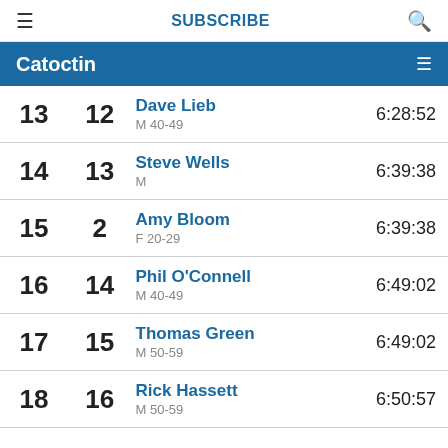SUBSCRIBE
Catoctin
| Overall | Gender | Name | Time |
| --- | --- | --- | --- |
| 13 | 12 | Dave Lieb M 40-49 | 6:28:52 |
| 14 | 13 | Steve Wells M | 6:39:38 |
| 15 | 2 | Amy Bloom F 20-29 | 6:39:38 |
| 16 | 14 | Phil O'Connell M 40-49 | 6:49:02 |
| 17 | 15 | Thomas Green M 50-59 | 6:49:02 |
| 18 | 16 | Rick Hassett M 50-59 | 6:50:57 |